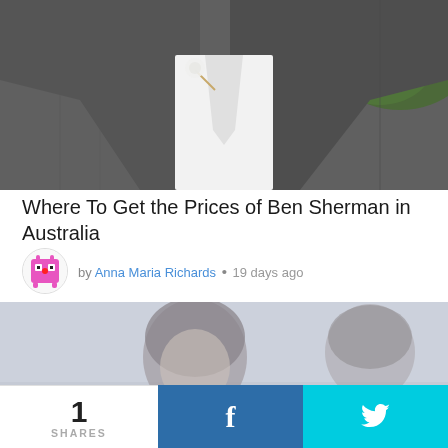[Figure (photo): Close-up photo of a man in a grey suit with white shirt and a floral boutonniere, with greenery in the background]
Where To Get the Prices of Ben Sherman in Australia
by Anna Maria Richards • 19 days ago
[Figure (photo): Blurred/faded photo of a woman with dark hair holding her hands to her face, with another person visible in the background]
1 SHARES